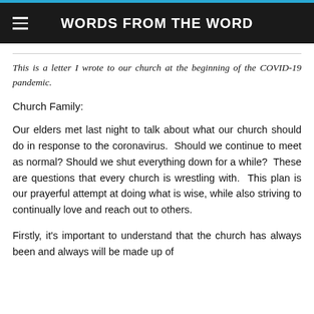WORDS FROM THE WORD
This is a letter I wrote to our church at the beginning of the COVID-19 pandemic.
Church Family:
Our elders met last night to talk about what our church should do in response to the coronavirus.  Should we continue to meet as normal? Should we shut everything down for a while?  These are questions that every church is wrestling with.  This plan is our prayerful attempt at doing what is wise, while also striving to continually love and reach out to others.
Firstly, it's important to understand that the church has always been and always will be made up of people...